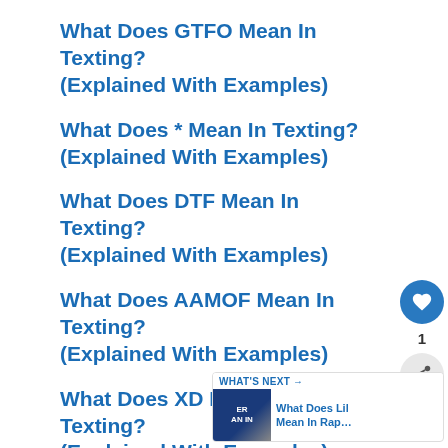What Does GTFO Mean In Texting? (Explained With Examples)
What Does * Mean In Texting? (Explained With Examples)
What Does DTF Mean In Texting? (Explained With Examples)
What Does AAMOF Mean In Texting? (Explained With Examples)
What Does XD Mean In Texting? (Explained With Examples)
What Does CDC Mean In Texting (Explained With Examples)